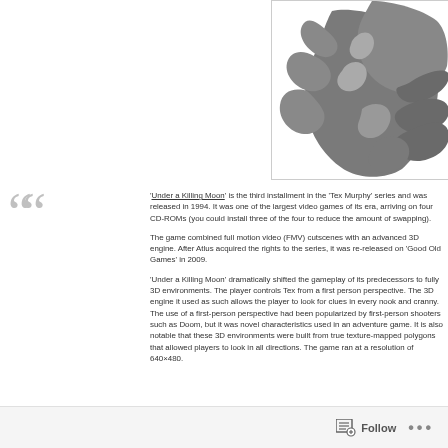[Figure (illustration): Partial illustration of a dark silhouette figure, appears to be a character from the game 'Under a Killing Moon', shown in grey tones against a white background with a light border.]
'Under a Killing Moon' is the third installment in the 'Tex Murphy' series and was released in 1994. It was one of the largest video games of its era, arriving on four CD-ROMs (you could install three of the four to reduce the amount of swapping).

The game combined full motion video (FMV) cutscenes with an advanced 3D engine. After Atlus acquired the rights to the series, it was re-released on 'Good Old Games' in 2009.

'Under a Killing Moon' dramatically shifted the gameplay of its predecessors to fully 3D environments. The player controls Tex from a first person perspective. The 3D engine it used as such allows the player to look for clues in every nook and cranny. The use of a first-person perspective had been popularized by first-person shooters such as Doom, but it was novel characteristics used in an adventure game. It is also notable that these 3D environments were built from true texture-mapped polygons that allowed players to look in all directions. The game ran at a resolution of 640×480.
Follow ...